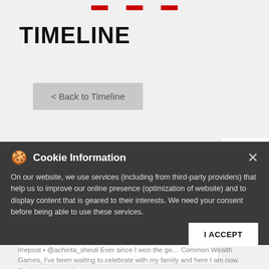Navigation bar with red buttons
TIMELINE
< Back to Timeline
[Figure (screenshot): Android robot icon (green) in a white panel on the right side]
[Figure (screenshot): Apple logo icon (black) in a white panel on the right side]
Cookie Information

On our website, we use services (including from third-party providers) that help us to improve our online presence (optimization of website) and to display content that is geared to their interests. We need your consent before being able to use these services.
I ACCEPT
#repost • @achinta_sheuli Ever since I won the go… Common Wealth Games, I've been waiting to celebrate with my family and here I am now. Couldn't be more better for me…